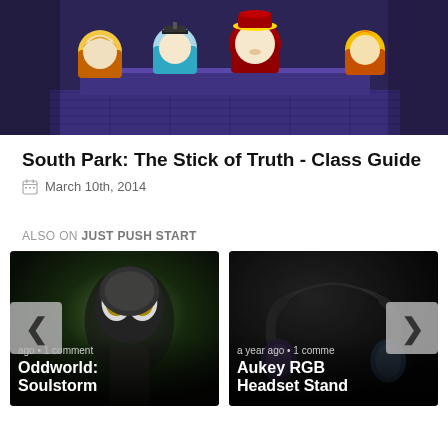[Figure (screenshot): Screenshot from South Park: The Stick of Truth video game showing animated South Park characters (Kenny, Butters, Cartman, and others) seated at a table in a fantasy/RPG setting with a purple stone floor]
South Park: The Stick of Truth - Class Guide
March 10th, 2014
ALSO ON JUST PUSH START
[Figure (photo): Thumbnail image for Oddworld: Soulstorm article showing a close-up of an alien creature character with large yellow eyes. Shows 'ago • 1 comment' and article title 'Oddworld: Soulstorm']
[Figure (photo): Thumbnail image for Aukey RGB Headset Stand article showing a dark gaming headset stand product. Shows 'a year ago • 1 comme' and article title 'Aukey RGB Headset Stand']